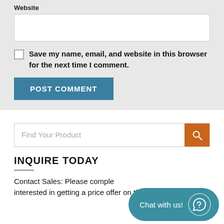Website
Save my name, email, and website in this browser for the next time I comment.
POST COMMENT
Find Your Product
INQUIRE TODAY
Contact Sales: Please complete... interested in getting a price offer on this product or have an